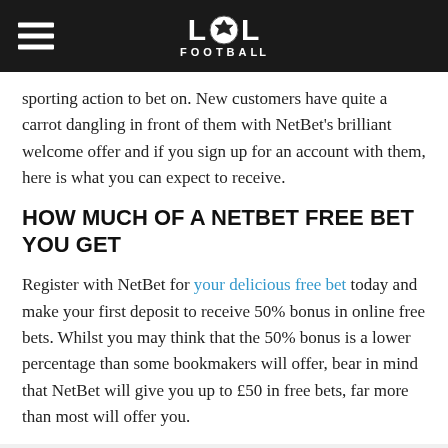LOL FOOTBALL
sporting action to bet on. New customers have quite a carrot dangling in front of them with NetBet's brilliant welcome offer and if you sign up for an account with them, here is what you can expect to receive.
HOW MUCH OF A NETBET FREE BET YOU GET
Register with NetBet for your delicious free bet today and make your first deposit to receive 50% bonus in online free bets. Whilst you may think that the 50% bonus is a lower percentage than some bookmakers will offer, bear in mind that NetBet will give you up to £50 in free bets, far more than most will offer you.